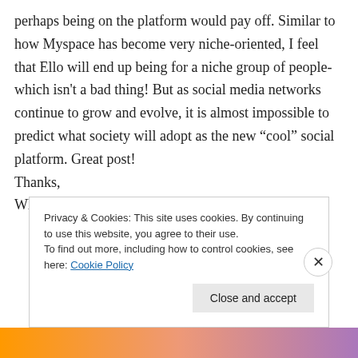perhaps being on the platform would pay off. Similar to how Myspace has become very niche-oriented, I feel that Ello will end up being for a niche group of people- which isn't a bad thing! But as social media networks continue to grow and evolve, it is almost impossible to predict what society will adopt as the new “cool” social platform. Great post!
Thanks,
Whitney
Privacy & Cookies: This site uses cookies. By continuing to use this website, you agree to their use.
To find out more, including how to control cookies, see here: Cookie Policy